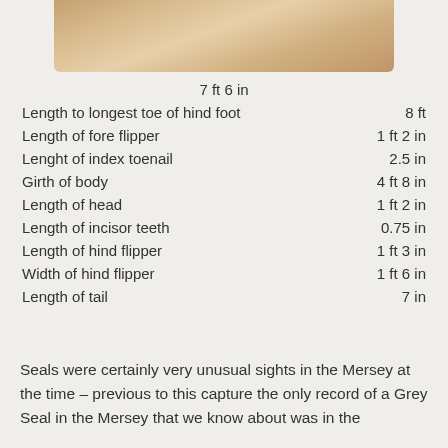[Figure (photo): Partial photograph of a seal, showing fur/skin texture, cropped at top of page]
|  | 7 ft 6 in |
| Length to longest toe of hind foot | 8 ft |
| Length of fore flipper | 1 ft 2 in |
| Lenght of index toenail | 2.5 in |
| Girth of body | 4 ft 8 in |
| Length of head | 1 ft 2 in |
| Length of incisor teeth | 0.75 in |
| Length of hind flipper | 1 ft 3 in |
| Width of hind flipper | 1 ft 6 in |
| Length of tail | 7 in |
Seals were certainly very unusual sights in the Mersey at the time – previous to this capture the only record of a Grey Seal in the Mersey that we know about was in the